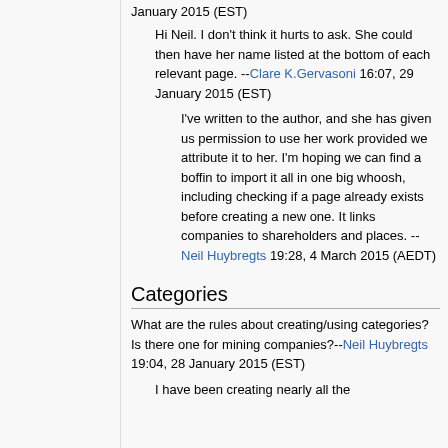January 2015 (EST)
Hi Neil. I don't think it hurts to ask. She could then have her name listed at the bottom of each relevant page. --Clare K.Gervasoni 16:07, 29 January 2015 (EST)
I've written to the author, and she has given us permission to use her work provided we attribute it to her. I'm hoping we can find a boffin to import it all in one big whoosh, including checking if a page already exists before creating a new one. It links companies to shareholders and places. --Neil Huybregts 19:28, 4 March 2015 (AEDT)
Categories
What are the rules about creating/using categories? Is there one for mining companies?--Neil Huybregts 19:04, 28 January 2015 (EST)
I have been creating nearly all the